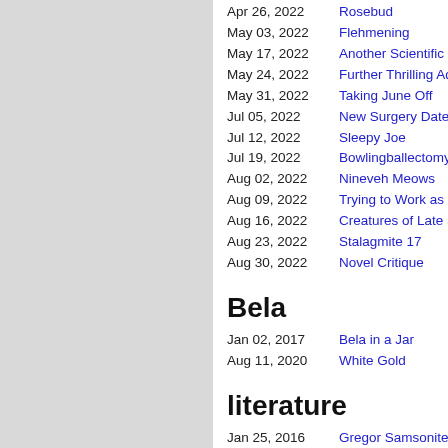Apr 26, 2022 — Rosebud
May 03, 2022 — Flehmening
May 17, 2022 — Another Scientific Na…
May 24, 2022 — Further Thrilling Adve…
May 31, 2022 — Taking June Off
Jul 05, 2022 — New Surgery Date
Jul 12, 2022 — Sleepy Joe
Jul 19, 2022 — Bowlingballectomy
Aug 02, 2022 — Nineveh Meows
Aug 09, 2022 — Trying to Work as Us…
Aug 16, 2022 — Creatures of Late Su…
Aug 23, 2022 — Stalagmite 17
Aug 30, 2022 — Novel Critique
Bela
Jan 02, 2017 — Bela in a Jar
Aug 11, 2020 — White Gold
literature
Jan 25, 2016 — Gregor Samsonite
Oct 10, 2016 — If You See Somethin…